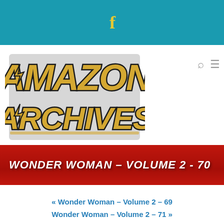f
[Figure (logo): Amazon Archives logo with gold metallic bold text on white background with black outline]
WONDER WOMAN – VOLUME 2 - 70
« Wonder Woman – Volume 2 – 69
Wonder Woman – Volume 2 – 71 »